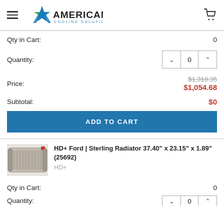American Cooling Solutions
Qty in Cart: 0
Quantity: 0
Price: $1,318.35 $1,054.68
Subtotal: $0
ADD TO CART
[Figure (photo): Radiator product photo — a rectangular metal radiator unit with red fittings]
HD+ Ford | Sterling Radiator 37.40" x 23.15" x 1.89" (25692)
HD+
Qty in Cart: 0
Quantity: 0